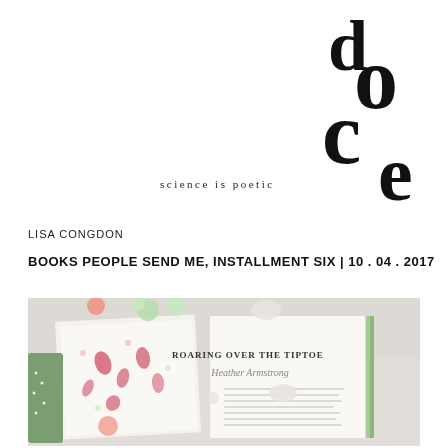[Figure (logo): doce logo — overlapping large serif letters d, o, c, e arranged in a stacked typographic composition]
science is poetic
LISA CONGDON
BOOKS PEOPLE SEND ME, INSTALLMENT SIX | 10 . 04 . 2017
[Figure (photo): Open book titled 'ROARING OVER THE TIPTOE by Heather Armstrong' with colorful illustrated pages, surrounded by small pastel-colored decorative balls and objects on a light grey surface]